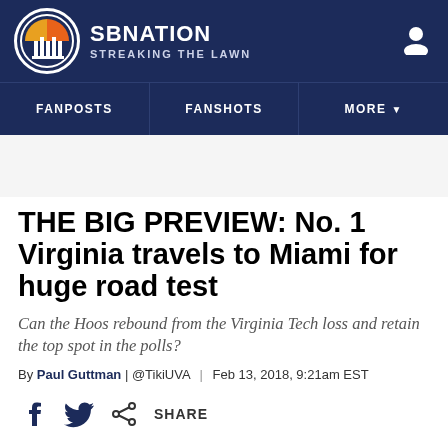SB NATION | STREAKING THE LAWN
THE BIG PREVIEW: No. 1 Virginia travels to Miami for huge road test
Can the Hoos rebound from the Virginia Tech loss and retain the top spot in the polls?
By Paul Guttman | @TikiUVA | Feb 13, 2018, 9:21am EST